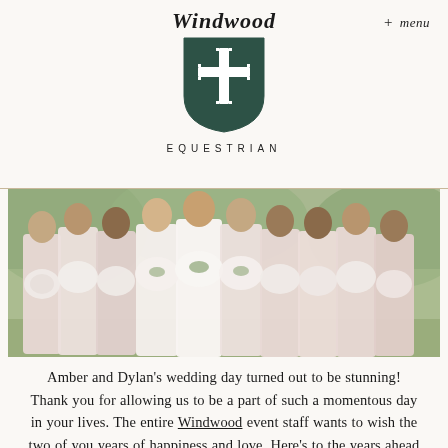Windwood Equestrian
[Figure (photo): Group photo of bridesmaids in light pink dresses holding white and pink floral bouquets, with bride in white in the center, standing outdoors]
Amber and Dylan's wedding day turned out to be stunning! Thank you for allowing us to be a part of such a momentous day in your lives. The entire Windwood event staff wants to wish the two of you years of happiness and love. Here's to the years ahead